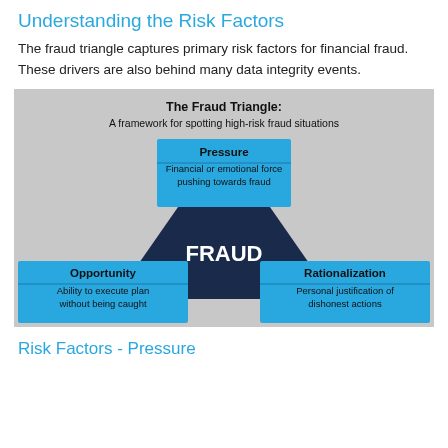Understanding the Risk Factors
The fraud triangle captures primary risk factors for financial fraud. These drivers are also behind many data integrity events.
[Figure (infographic): The Fraud Triangle diagram: A framework for spotting high-risk fraud situations. A dark navy triangle in the center labeled FRAUD, with three surrounding light blue boxes: Pressure (top) - Financial or emotional force pushing towards fraud; Opportunity (bottom left) - Ability to execute plan without being caught; Rationalization (bottom right) - Personal justification of dishonest actions. Background is light gray.]
Risk Factors - Pressure